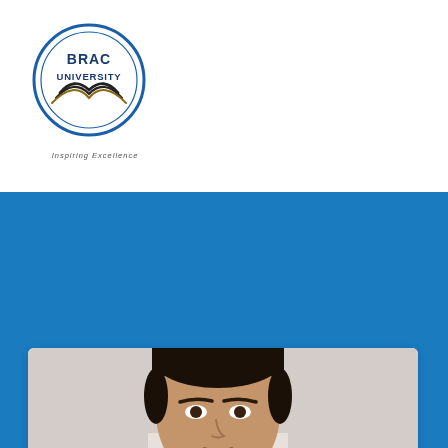[Figure (logo): BRAC University logo — circular emblem with open book/wings motif, text 'BRAC UNIVERSITY' inside, tagline 'Inspiring Excellence' below]
Associated Team Members
[Figure (photo): Headshot photo of a man with short dark hair, partial face visible from forehead to chin, light background]